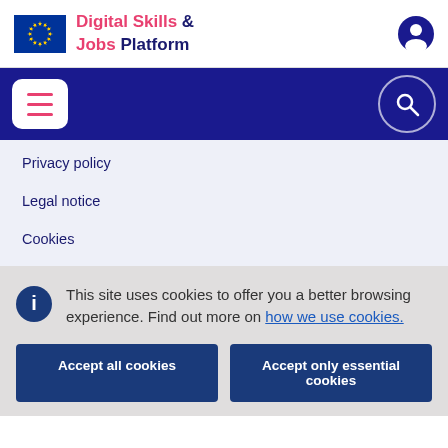Digital Skills & Jobs Platform
Privacy policy
Legal notice
Cookies
This site uses cookies to offer you a better browsing experience. Find out more on how we use cookies.
Accept all cookies
Accept only essential cookies